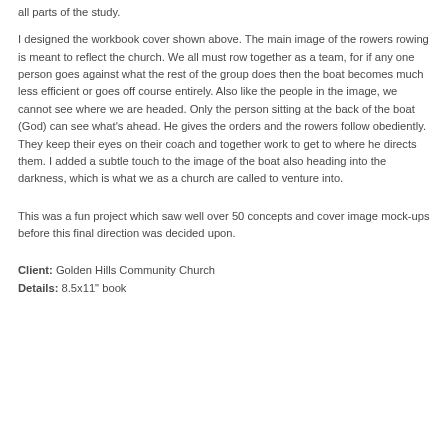all parts of the study.
I designed the workbook cover shown above. The main image of the rowers rowing is meant to reflect the church. We all must row together as a team, for if any one person goes against what the rest of the group does then the boat becomes much less efficient or goes off course entirely. Also like the people in the image, we cannot see where we are headed. Only the person sitting at the back of the boat (God) can see what's ahead. He gives the orders and the rowers follow obediently. They keep their eyes on their coach and together work to get to where he directs them. I added a subtle touch to the image of the boat also heading into the darkness, which is what we as a church are called to venture into.
This was a fun project which saw well over 50 concepts and cover image mock-ups before this final direction was decided upon.
Client: Golden Hills Community Church
Details: 8.5x11" book